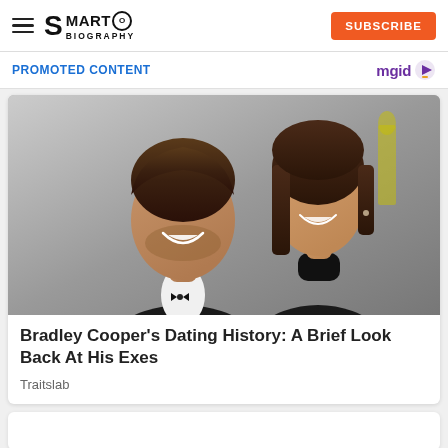SMARTO BIOGRAPHY — SUBSCRIBE
PROMOTED CONTENT
[Figure (photo): A man in a tuxedo with bow tie and a woman in a black turtleneck, both smiling, at a formal event with Oscar statuettes in background.]
Bradley Cooper's Dating History: A Brief Look Back At His Exes
Traitslab